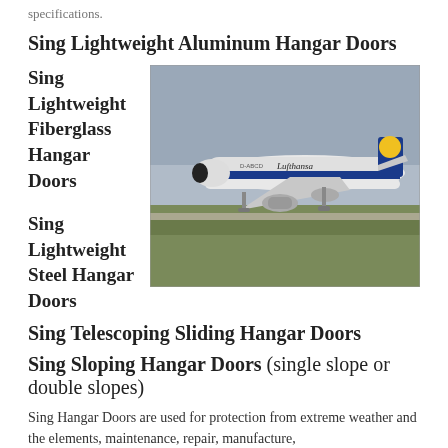specifications.
Sing Lightweight Aluminum Hangar Doors
Sing Lightweight Fiberglass Hangar Doors
[Figure (photo): A Lufthansa Boeing 737 aircraft on the tarmac, side view showing Lufthansa livery with blue tail and yellow crane logo.]
Sing Lightweight Steel Hangar Doors
Sing Telescoping Sliding Hangar Doors
Sing Sloping Hangar Doors (single slope or double slopes)
Sing Hangar Doors are used for protection from extreme weather and the elements, maintenance, repair, manufacture,